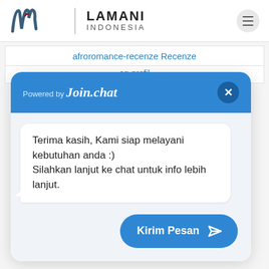[Figure (logo): Lamani Indonesia logo with stylized 'lw' monogram and brand name]
afroromance-recenze Recenze
og-profil
[Figure (screenshot): Join.chat widget popup with header 'Powered by Join.chat', a close button, a message bubble saying 'Terima kasih, Kami siap melayani kebutuhan anda :) Silahkan lanjut ke chat untuk info lebih lanjut.', and a 'Kirim Pesan' send button.]
Terima kasih, Kami siap melayani kebutuhan anda :)
Silahkan lanjut ke chat untuk info lebih lanjut.
Kirim Pesan